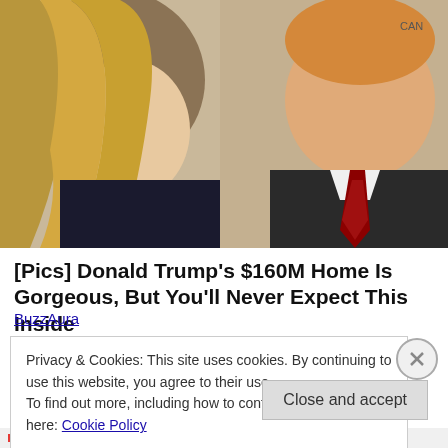[Figure (photo): Photo of a woman with long blonde hair on the left and a man in a suit with a red tie on the right, against a light interior background.]
[Pics] Donald Trump's $160M Home Is Gorgeous, But You'll Never Expect This Inside
BuzzAura
Privacy & Cookies: This site uses cookies. By continuing to use this website, you agree to their use.
To find out more, including how to control cookies, see here: Cookie Policy
Close and accept